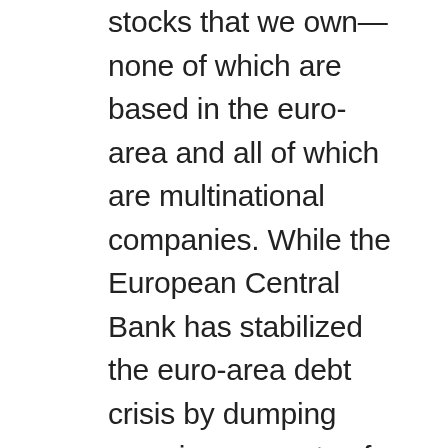stocks that we own—none of which are based in the euro-area and all of which are multinational companies. While the European Central Bank has stabilized the euro-area debt crisis by dumping massive amounts of liquidity into the financial system, risks remain. As we have long maintained, liquidity is not the underlying problem in the euro area. The liquidity crisis last year in Europe was a symptom of solvency concerns, which were in turn caused by the currency union's flawed design. Varying levels of competitiveness between countries that share the euro are the underlying cause of the region's